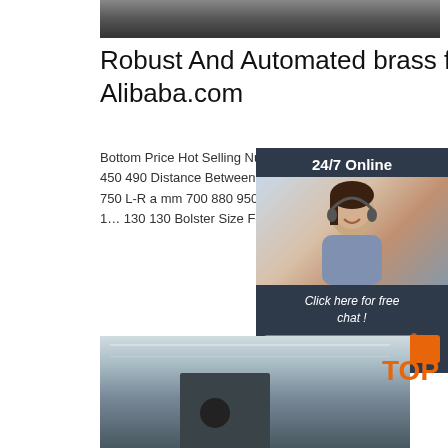[Figure (photo): Top portion of industrial machinery, dark tones]
Robust And Automated brass forging press - Alibaba.com
Bottom Price Hot Selling Nuts Forging Machine 100 110 120 120 120 Throat Depth C1 mm 40 450 490 Distance Between Columns d1 mm 7 980 1050 Slide Bottom Size F-B b mm 580 65 750 L-R a mm 700 880 950 950 1020 Shank Hole Diameter d mm 70 70 70 70 70 Depth l mm 10 130 130 Bolster Size F-B D mm 760 ...
[Figure (photo): Customer service representative with headset, 24/7 Online chat widget]
Click here for free chat !
QUOTATION
Get Price
[Figure (photo): Industrial factory or warehouse interior with heavy machinery]